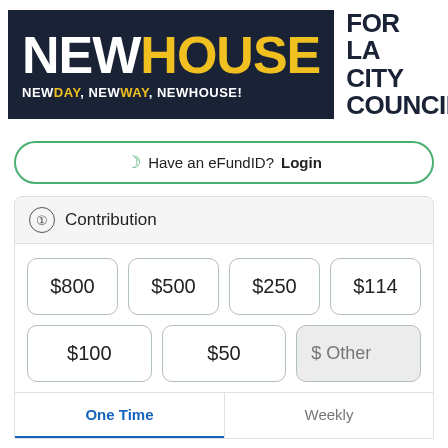[Figure (logo): NewHouse for LA City Council campaign logo. Dark navy banner with 'NEW' in white bold text and 'HOUSE' in yellow bold text. Tagline: 'NEWDAY, NEWWAY, NEWHOUSE!' with DAY and WAY in yellow. Right side: 'FOR LA CITY COUNCIL' in large bold black text.]
Have an eFundID? Login
1 Contribution
$800
$500
$250
$114
$100
$50
$ Other
One Time
Weekly